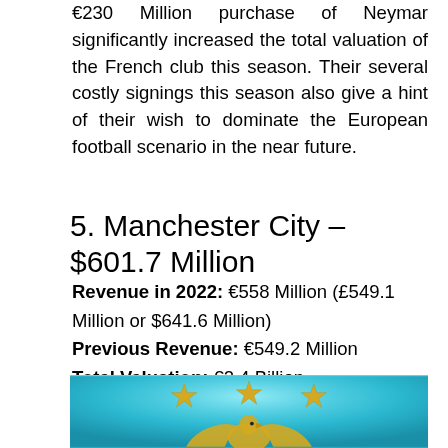€230 Million purchase of Neymar significantly increased the total valuation of the French club this season. Their several costly signings this season also give a hint of their wish to dominate the European football scenario in the near future.
5. Manchester City – $601.7 Million
Revenue in 2022: €558 Million (£549.1 Million or $641.6 Million)
Previous Revenue: €549.2 Million
Total Valuation: €2.4 Billion
[Figure (photo): Manchester City club crest/logo on a teal/blue background with three gold stars above an eagle emblem]